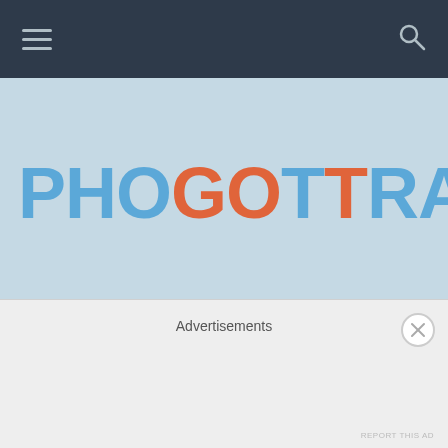Navigation bar with hamburger menu and search icon
[Figure (logo): PHOGOTRAPHY logo on light blue banner background. 'PHO', 'RAPHY' in blue, 'GO', 'T' in orange.]
MOBILE PHOTOGRAPHY
Sho... (partially visible article title)
Advertisements